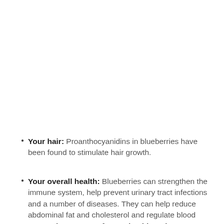Your hair: Proanthocyanidins in blueberries have been found to stimulate hair growth.
Your overall health: Blueberries can strengthen the immune system, help prevent urinary tract infections and a number of diseases. They can help reduce abdominal fat and cholesterol and regulate blood sugar. They're great for gut health and can protect against intestinal inflammation, especially when paired with probiotics (See this article for details.) Bonus: Anything